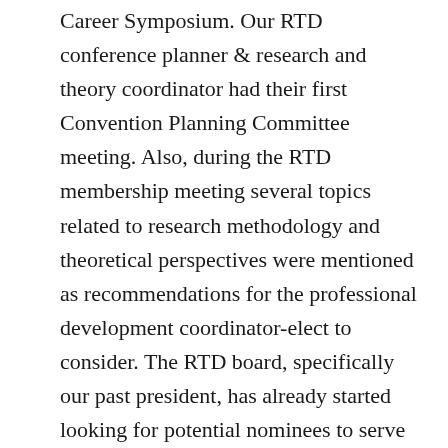Career Symposium. Our RTD conference planner & research and theory coordinator had their first Convention Planning Committee meeting. Also, during the RTD membership meeting several topics related to research methodology and theoretical perspectives were mentioned as recommendations for the professional development coordinator-elect to consider. The RTD board, specifically our past president, has already started looking for potential nominees to serve in our division during the 2017-2018 service year. We are also preparing to launch several initiatives that will serve to connect graduate students and faculty members.
On a personal note, I am so grateful to be part of